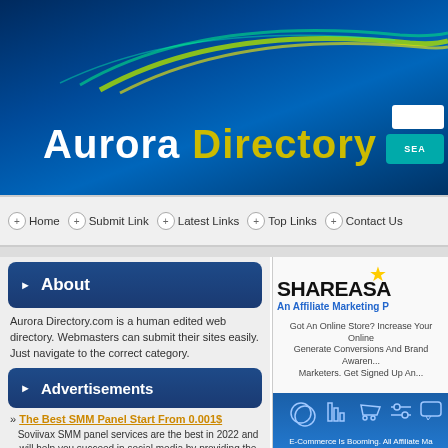[Figure (logo): Aurora Directory website header banner with dark blue background, aurora light streaks in green and yellow, large text 'Aurora Directory' in white and yellow, search box and teal SEARCH button top right]
Aurora Directory
+ Home
+ Submit Link
+ Latest Links
+ Top Links
+ Contact Us
About
Aurora Directory.com is a human edited web directory. Webmasters can submit their sites easily. Just navigate to the correct category.
Advertisements
» The Best SMM Panel Start From 0.001$
Soviivax SMM panel services are the best in 2022 and will help you succeed in social media by providing the cheapest Instagram panel, Twitter panel, TikTok panel, Facebook panel, Youtube panel, Telegram panel, and others.
[Figure (logo): ShareASale affiliate marketing platform logo with yellow star, black bold text SHAREASA, blue subtitle 'An Affiliate Marketing P...' and description text and e-commerce icons illustration]